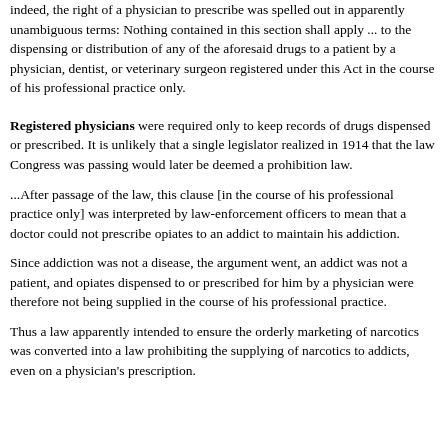indeed, the right of a physician to prescribe was spelled out in apparently unambiguous terms: Nothing contained in this section shall apply ... to the dispensing or distribution of any of the aforesaid drugs to a patient by a physician, dentist, or veterinary surgeon registered under this Act in the course of his professional practice only.
Registered physicians were required only to keep records of drugs dispensed or prescribed. It is unlikely that a single legislator realized in 1914 that the law Congress was passing would later be deemed a prohibition law.
...After passage of the law, this clause [in the course of his professional practice only] was interpreted by law-enforcement officers to mean that a doctor could not prescribe opiates to an addict to maintain his addiction.
Since addiction was not a disease, the argument went, an addict was not a patient, and opiates dispensed to or prescribed for him by a physician were therefore not being supplied in the course of his professional practice.
Thus a law apparently intended to ensure the orderly marketing of narcotics was converted into a law prohibiting the supplying of narcotics to addicts, even on a physician's prescription.